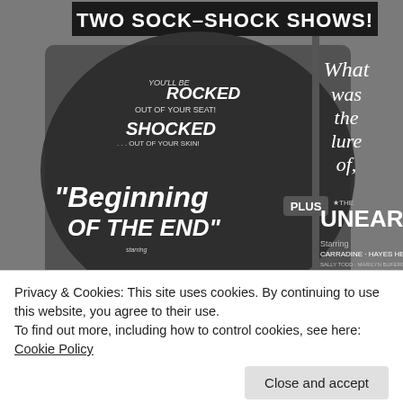[Figure (photo): Black and white vintage movie advertisement showing two films side by side. Left panel: 'Beginning of the End' with text 'You'll be ROCKED out of your seat! SHOCKED... out of your skin!' Right panel: 'The Unearthed' featuring 'What was the lure of...' with PLUS label in center. Starring Carradine, Hayes, Healy, Sally Todd, Marilyn Buferd, Tom Johnson. Header reads 'TWO SOCK-SHOCK SHOWS!']
Privacy & Cookies: This site uses cookies. By continuing to use this website, you agree to their use.
To find out more, including how to control cookies, see here: Cookie Policy